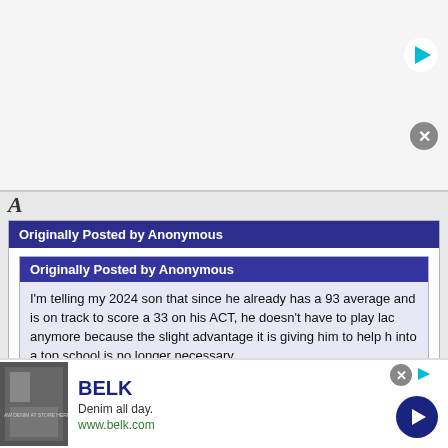[Figure (screenshot): Top advertisement banner area with play button (cyan triangle) and close button (gray circle with X)]
A
Originally Posted by Anonymous
Originally Posted by Anonymous
I'm telling my 2024 son that since he already has a 93 average and is on track to score a 33 on his ACT, he doesn't have to play lac anymore because the slight advantage it is giving him to help h into a top school is no longer necessary.
Sounds like a great idea. Get him a tutor to raise the GPA and AC much greater advantage.
No, it isn't. A recruited athlete with the above stats (good enough do
[Figure (screenshot): Bottom advertisement banner for BELK - Denim all day. www.belk.com with a navy blue circular arrow button]